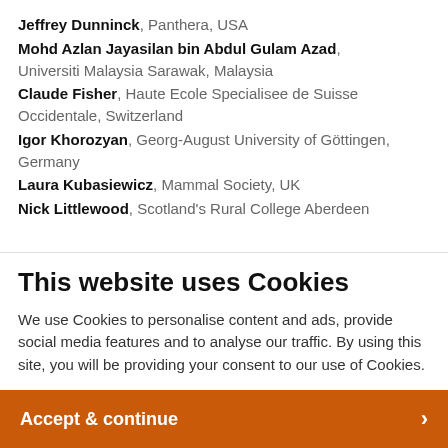Jeffrey Dunninck, Panthera, USA
Mohd Azlan Jayasilan bin Abdul Gulam Azad, Universiti Malaysia Sarawak, Malaysia
Claude Fisher, Haute Ecole Specialisee de Suisse Occidentale, Switzerland
Igor Khorozyan, Georg-August University of Göttingen, Germany
Laura Kubasiewicz, Mammal Society, UK
Nick Littlewood, Scotland's Rural College Aberdeen
This website uses Cookies
We use Cookies to personalise content and ads, provide social media features and to analyse our traffic. By using this site, you will be providing your consent to our use of Cookies.
Accept & continue